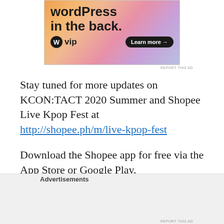[Figure (screenshot): WordPress VIP advertisement banner with colorful gradient background (orange, pink, purple). Shows large bold text 'WordPress in the back.' with WordPress W logo, 'vip' text, and a black 'Learn more →' button.]
REPORT THIS AD
Stay tuned for more updates on KCON:TACT 2020 Summer and Shopee Live Kpop Fest at http://shopee.ph/m/live-kpop-fest
Download the Shopee app for free via the App Store or Google Play.
Advertisements